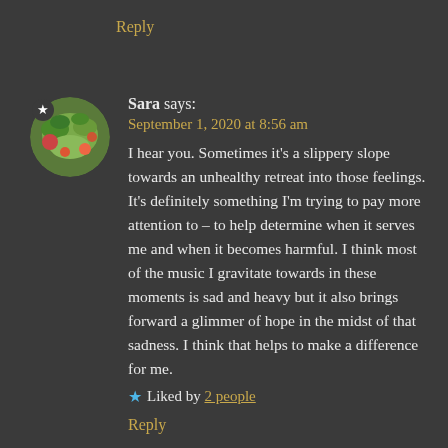Reply
Sara says:
September 1, 2020 at 8:56 am
I hear you. Sometimes it’s a slippery slope towards an unhealthy retreat into those feelings. It’s definitely something I’m trying to pay more attention to – to help determine when it serves me and when it becomes harmful. I think most of the music I gravitate towards in these moments is sad and heavy but it also brings forward a glimmer of hope in the midst of that sadness. I think that helps to make a difference for me.
★ Liked by 2 people
Reply